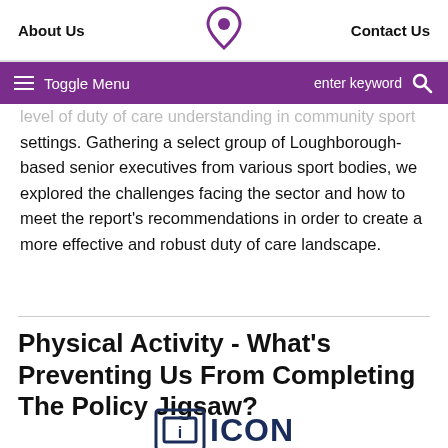About Us | [logo] | Contact Us
Toggle Menu | enter keyword [search]
level of duty of care understanding in community sport settings. Gathering a select group of Loughborough-based senior executives from various sport bodies, we explored the challenges facing the sector and how to meet the report's recommendations in order to create a more effective and robust duty of care landscape.
Physical Activity - What's Preventing Us From Completing The Policy Jigsaw?
[Figure (logo): ICON logo with bracket icon and text ICON in dark navy blue]